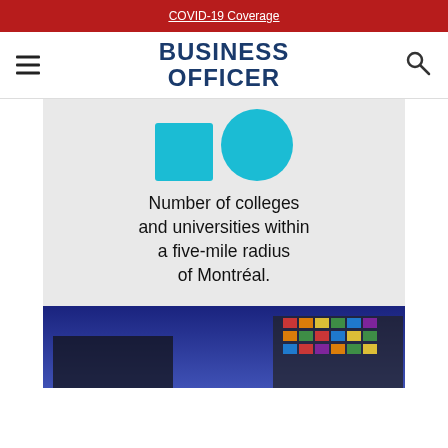COVID-19 Coverage
[Figure (logo): Business Officer magazine logo with hamburger menu and search icon]
[Figure (infographic): Infographic showing number 16 (square and circle shapes in teal) with text: Number of colleges and universities within a five-mile radius of Montréal.]
[Figure (photo): Nighttime photo of a modern building with colorful illuminated facade panels against a blue sky]